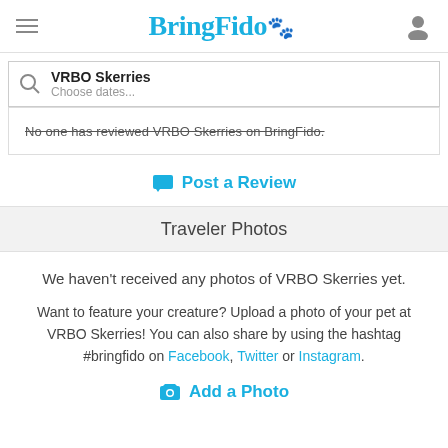BringFido
VRBO Skerries
Choose dates...
No one has reviewed VRBO Skerries on BringFido.
Post a Review
Traveler Photos
We haven't received any photos of VRBO Skerries yet.
Want to feature your creature? Upload a photo of your pet at VRBO Skerries! You can also share by using the hashtag #bringfido on Facebook, Twitter or Instagram.
Add a Photo